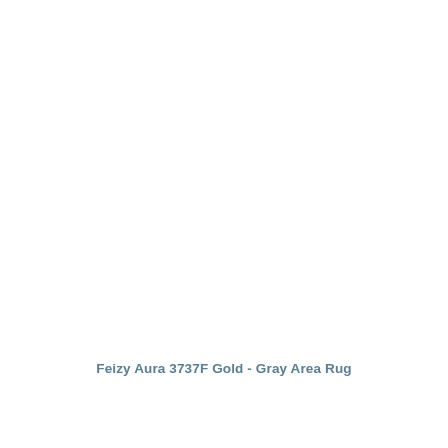Feizy Aura 3737F Gold - Gray Area Rug